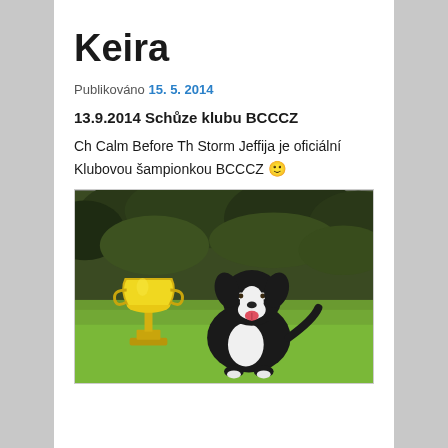Keira
Publikováno 15. 5. 2014
13.9.2014 Schůze klubu BCCCZ
Ch Calm Before Th Storm Jeffija je oficiální Klubovou šampionkou BCCCZ 🙂
[Figure (photo): A black and white Border Collie dog sitting on green grass next to a large gold trophy cup, with trees in the background.]